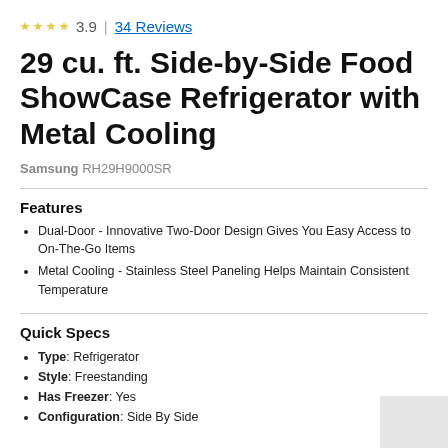3.9 | 34 Reviews
29 cu. ft. Side-by-Side Food ShowCase Refrigerator with Metal Cooling
Samsung RH29H9000SR
Features
Dual-Door - Innovative Two-Door Design Gives You Easy Access to On-The-Go Items
Metal Cooling - Stainless Steel Paneling Helps Maintain Consistent Temperature
Quick Specs
Type: Refrigerator
Style: Freestanding
Has Freezer: Yes
Configuration: Side By Side